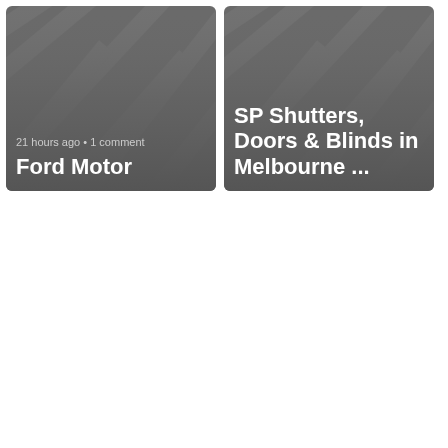[Figure (screenshot): Card thumbnail with gray diagonal pattern background showing meta text '21 hours ago • 1 comment' and title 'Ford Motor']
[Figure (screenshot): Card thumbnail with gray diagonal pattern background showing title 'SP Shutters, Doors & Blinds in Melbourne ...']